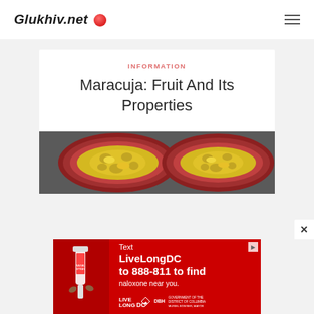Glukhiv.net
INFORMATION
Maracuja: Fruit And Its Properties
[Figure (photo): Two halves of a passion fruit (maracuja) cut open, showing yellow-green seedy pulp inside a dark red/purple rind, viewed from above on a dark background]
[Figure (photo): Advertisement banner: red background with text 'Text LiveLongDC to 888-811 to find naloxone near you.' with a hand holding a nasal spray device, Live Long DC logo, DBH logo, and District of Columbia government branding]